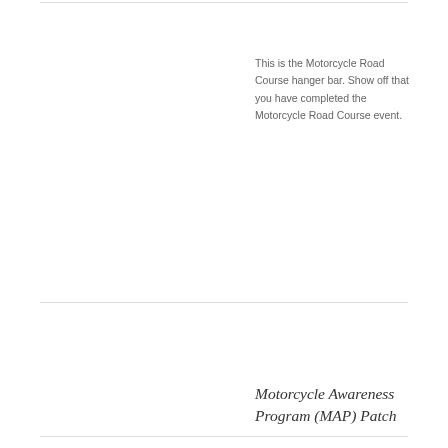This is the Motorcycle Road Course hanger bar.  Show off that you have completed the Motorcycle Road Course event.
Motorcycle Awareness Program (MAP) Patch
$5.00
f